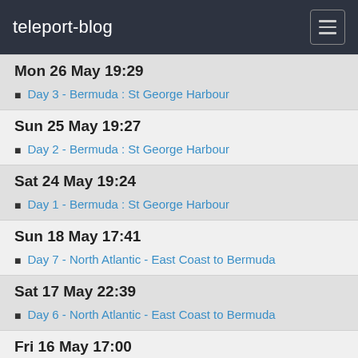teleport-blog
Mon 26 May 19:29
Day 3 - Bermuda : St George Harbour
Sun 25 May 19:27
Day 2 - Bermuda : St George Harbour
Sat 24 May 19:24
Day 1 - Bermuda : St George Harbour
Sun 18 May 17:41
Day 7 - North Atlantic - East Coast to Bermuda
Sat 17 May 22:39
Day 6 - North Atlantic - East Coast to Bermuda
Fri 16 May 17:00
Day 5 - North Atlantic - East Coast to Bermuda
Thu 15 May 22:57
Day 4 - North Atlantic - East Coast to Bermuda
Wed 14 May 17:19